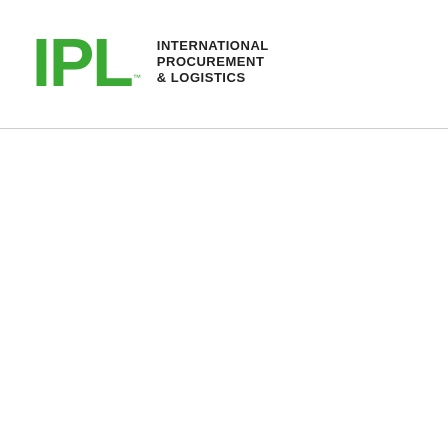[Figure (logo): IPL International Procurement & Logistics logo. Large green bold letters 'IPL' with a small trademark symbol after the L, followed by stacked text 'INTERNATIONAL PROCUREMENT & LOGISTICS' in dark bold uppercase.]